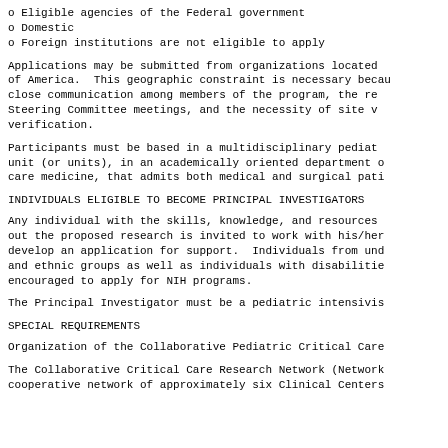o Eligible agencies of the Federal government
o Domestic
o Foreign institutions are not eligible to apply
Applications may be submitted from organizations located of America. This geographic constraint is necessary becau close communication among members of the program, the re Steering Committee meetings, and the necessity of site v verification.
Participants must be based in a multidisciplinary pediat unit (or units), in an academically oriented department care medicine, that admits both medical and surgical pat
INDIVIDUALS ELIGIBLE TO BECOME PRINCIPAL INVESTIGATORS
Any individual with the skills, knowledge, and resources out the proposed research is invited to work with his/he develop an application for support.  Individuals from un and ethnic groups as well as individuals with disabiliti encouraged to apply for NIH programs.
The Principal Investigator must be a pediatric intensivi
SPECIAL REQUIREMENTS
Organization of the Collaborative Pediatric Critical Car
The Collaborative Critical Care Research Network (Networ cooperative network of approximately six Clinical Centers